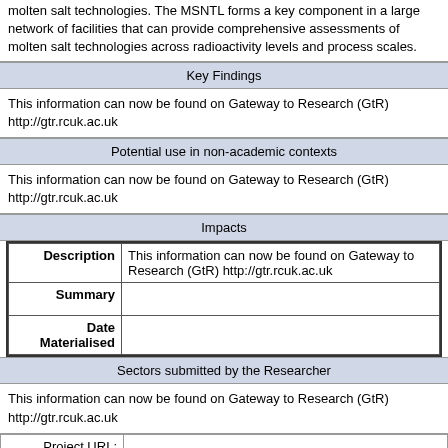molten salt technologies. The MSNTL forms a key component in a large network of facilities that can provide comprehensive assessments of molten salt technologies across radioactivity levels and process scales.
Key Findings
This information can now be found on Gateway to Research (GtR) http://gtr.rcuk.ac.uk
Potential use in non-academic contexts
This information can now be found on Gateway to Research (GtR) http://gtr.rcuk.ac.uk
Impacts
| Description | Summary | Date Materialised |
| --- | --- | --- |
| This information can now be found on Gateway to Research (GtR) http://gtr.rcuk.ac.uk |  |  |
Sectors submitted by the Researcher
This information can now be found on Gateway to Research (GtR) http://gtr.rcuk.ac.uk
| Project URL: | Further Information: | Organisation Website: |
| --- | --- | --- |
|  |  | http://www.man.ac.uk |